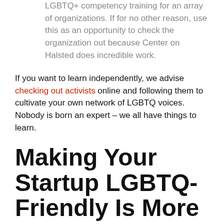LGBTQ+ competency training for an array of organizations. If for no other reason, use this as an opportunity to check the organization out because Center on Halsted does incredible work.
If you want to learn independently, we advise checking out activists online and following them to cultivate your own network of LGBTQ voices. Nobody is born an expert – we all have things to learn.
Making Your Startup LGBTQ-Friendly Is More Than a Month-Long